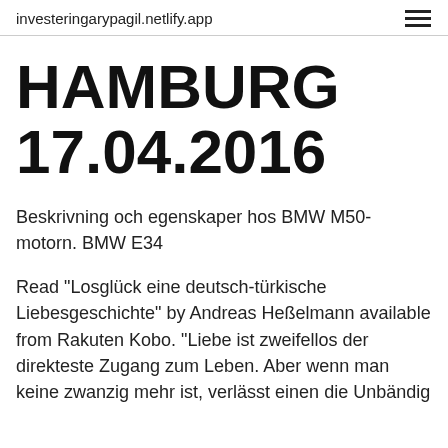investeringarypagil.netlify.app
HAMBURG 17.04.2016
Beskrivning och egenskaper hos BMW M50-motorn. BMW E34
Read "Losglück eine deutsch-türkische Liebesgeschichte" by Andreas Heßelmann available from Rakuten Kobo. "Liebe ist zweifellos der direkteste Zugang zum Leben. Aber wenn man keine zwanzig mehr ist, verlässt einen die Unbändig